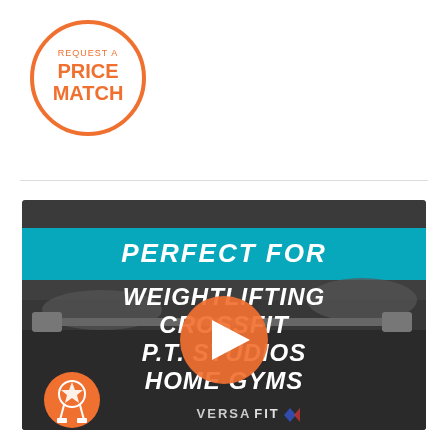[Figure (logo): Orange circle badge with text 'REQUEST A PRICE MATCH' in orange and bold white lettering]
[Figure (screenshot): Video thumbnail showing people weightlifting in a gym with bold white italic text overlay reading 'PERFECT FOR WEIGHTLIFTING CROSSFIT P.T. STUDIOS HOME GYMS' on a cyan/teal banner and dark background, with an orange play button in the center and an orange award/medal badge in the bottom left corner. VersaFit logo at the bottom center.]